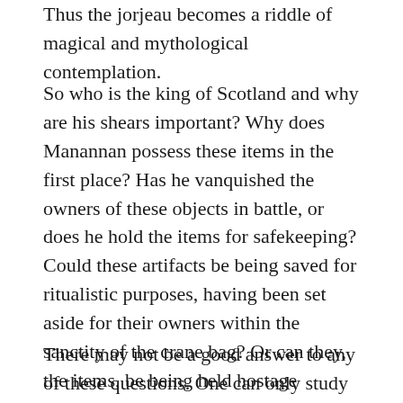Thus the jorjeau becomes a riddle of magical and mythological contemplation.
So who is the king of Scotland and why are his shears important? Why does Manannan possess these items in the first place? Has he vanquished the owners of these objects in battle, or does he hold the items for safekeeping? Could these artifacts be being saved for ritualistic purposes, having been set aside for their owners within the sanctity of the crane bag? Or can they, the items, be being held hostage themselves?
There may not be a good answer to any of these questions. One can only study and contemplate as to what these items may have